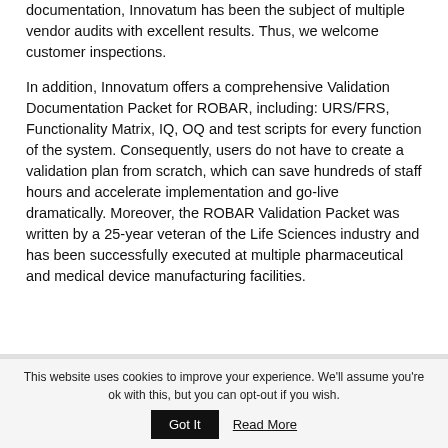documentation, Innovatum has been the subject of multiple vendor audits with excellent results. Thus, we welcome customer inspections.
In addition, Innovatum offers a comprehensive Validation Documentation Packet for ROBAR, including: URS/FRS, Functionality Matrix, IQ, OQ and test scripts for every function of the system. Consequently, users do not have to create a validation plan from scratch, which can save hundreds of staff hours and accelerate implementation and go-live dramatically. Moreover, the ROBAR Validation Packet was written by a 25-year veteran of the Life Sciences industry and has been successfully executed at multiple pharmaceutical and medical device manufacturing facilities.
This website uses cookies to improve your experience. We'll assume you're ok with this, but you can opt-out if you wish. Got It Read More